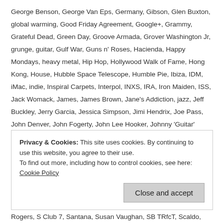George Benson, George Van Eps, Germany, Gibson, Glen Buxton, global warming, Good Friday Agreement, Google+, Grammy, Grateful Dead, Green Day, Groove Armada, Grover Washington Jr, grunge, guitar, Gulf War, Guns n' Roses, Hacienda, Happy Mondays, heavy metal, Hip Hop, Hollywood Walk of Fame, Hong Kong, House, Hubble Space Telescope, Humble Pie, Ibiza, IDM, iMac, indie, Inspiral Carpets, Interpol, INXS, IRA, Iron Maiden, ISS, Jack Womack, James, James Brown, Jane's Addiction, jazz, Jeff Buckley, Jerry Garcia, Jessica Simpson, Jimi Hendrix, Joe Pass, John Denver, John Fogerty, John Lee Hooker, Johnny 'Guitar' Watson, Johnny Cash, Jonny Thunders, Judas Priest, Justin Timberlake, Kaiser Chiefs, Keane, KISS, KLF, Kurt Cobain, Kylie Minogue, Leo Fender, Love Vintage Guitars, Lynyrd Skynyrd, Madchester, Mandy Moore, Marilyn Manson, Massive Attack, MDMA, Megadeth, Metallica, Michael Hutchence, Mick Ronson, Miles Davis, Moby, Morcheeba, Mother Teresa, MTV, MTV Unplugged, Mudhoney, NAFTA, Nelson Mandela, New Order, New York Dolls, Nick Cave, Nine Inch Nails, Nirvana, noise rock, NSYNC, NWOBHM, Oasis, OJ Simpson, Orbital, Pantera, Paul McCartney, Paul Van Dyk, Pearl
Privacy & Cookies: This site uses cookies. By continuing to use this website, you agree to their use. To find out more, including how to control cookies, see here: Cookie Policy
Rogers, S Club 7, Santana, Susan Vaughan, SB TRfcT, Scaldo, Sktream, Slash, Slayer,